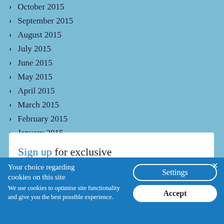October 2015
September 2015
August 2015
July 2015
June 2015
May 2015
April 2015
March 2015
February 2015
January 2015
Sign up for exclusive
Your choice regarding cookies on this site
We use cookies to optimise site functionality and give you the best possible experience.